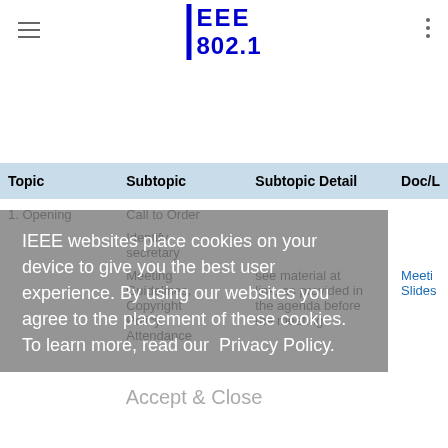IEEE 802.1
| Topic | Subtopic | Subtopic Detail | Doc/L |
| --- | --- | --- | --- |
| 1. Opening | Call to Order |  |  |
|  | Identify secretary |  |  |
|  | Meeting Guidelines, Copyright Policy, Attendance | see material at link, as provided in the agenda before the meeting | Meeting Slides |
IEEE websites place cookies on your device to give you the best user experience. By using our websites you agree to the placement of these cookies. To learn more, read our  Privacy Policy.
Accept & Close